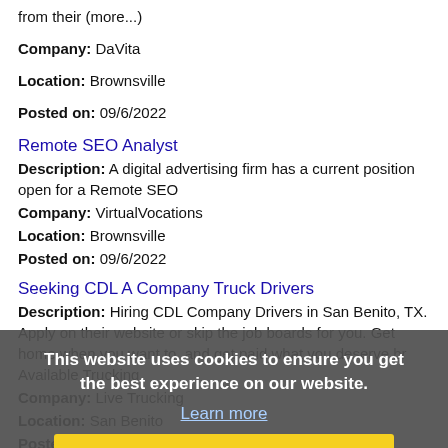from their (more...)
Company: DaVita
Location: Brownsville
Posted on: 09/6/2022
Remote SEO Analyst
Description: A digital advertising firm has a current position open for a Remote SEO
Company: VirtualVocations
Location: Brownsville
Posted on: 09/6/2022
Seeking CDL A Company Truck Drivers
Description: Hiring CDL Company Drivers in San Benito, TX. Apply on their website or skip the job boards for you. Get home when you want to, and get paid what you deserve br Available Trucking
Company: Live Trucking
Location: San Benito
Posted on: 09/6/2022
Telecommute Logistics Engineering Manager
Description: An eCommerce shopping platform is filling a position for a Telecommute Logistics Engineering Manager. br br Core